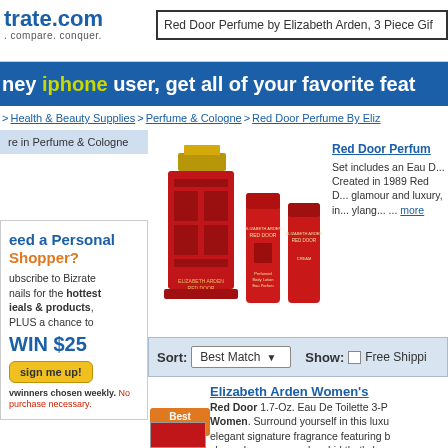trate.com — search, compare, conquer.
Red Door Perfume by Elizabeth Arden, 3 Piece Gift
ney iphone user, get all of your favorite feat
> Health & Beauty Supplies > Perfume & Cologne > Red Door Perfume By Eliz
re in Perfume & Cologne
[Figure (photo): Red Door Perfume by Elizabeth Arden 3-piece gift set: large red perfume bottle with gold cap, and two red tubes]
Red Door Perfum
Set includes an Eau D... Created in 1989 Red D... glamour and luxury, in... ylang... ... more
eed a Personal Shopper? Subscribe to Bizrate emails for the hottest deals & products, PLUS a chance to WIN $25 — sign me up! Winners chosen weekly. No purchase necessary.
Sort: Best Match   Show: [ ] Free Shippi
Elizabeth Arden Women's
Red Door 1.7-Oz. Eau De Toilette 3-P Women. Surround yourself in this luxu elegant signature fragrance featuring b ylang-ylang, rose and orchid that's ba
Best Seller